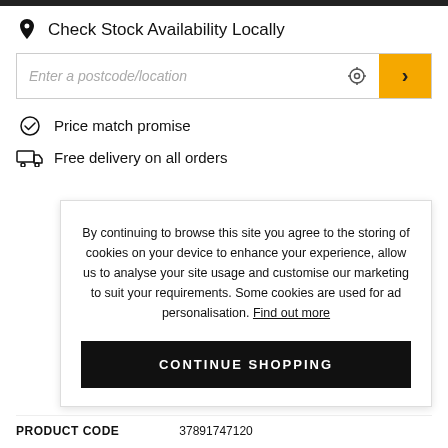Check Stock Availability Locally
Enter a postcode/location
Price match promise
Free delivery on all orders
By continuing to browse this site you agree to the storing of cookies on your device to enhance your experience, allow us to analyse your site usage and customise our marketing to suit your requirements. Some cookies are used for ad personalisation. Find out more
CONTINUE SHOPPING
PRODUCT CODE   37891747120